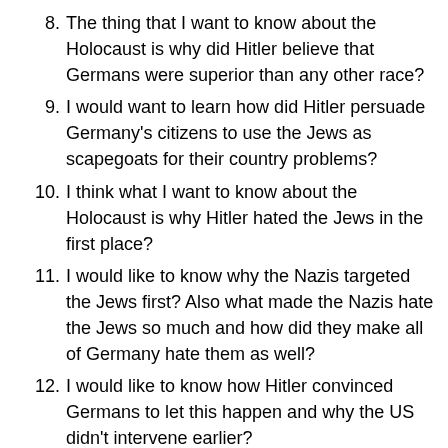8. The thing that I want to know about the Holocaust is why did Hitler believe that Germans were superior than any other race?
9. I would want to learn how did Hitler persuade Germany's citizens to use the Jews as scapegoats for their country problems?
10. I think what I want to know about the Holocaust is why Hitler hated the Jews in the first place?
11. I would like to know why the Nazis targeted the Jews first? Also what made the Nazis hate the Jews so much and how did they make all of Germany hate them as well?
12. I would like to know how Hitler convinced Germans to let this happen and why the US didn't intervene earlier?
13. I want to know what Hitler thought he was going to get